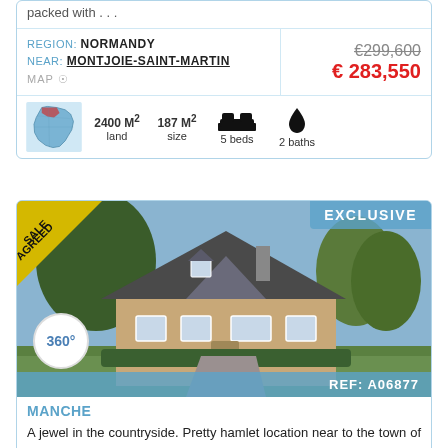packed with . . .
REGION: NORMANDY
NEAR: MONTJOIE-SAINT-MARTIN
€299,600 (strikethrough) € 283,550
2400 M² land  187 M² size  5 beds  2 baths
EXCLUSIVE  REF: A06877
SALE AGREED
360°
MANCHE
A jewel in the countryside. Pretty hamlet location near to the town of Sourdeval.